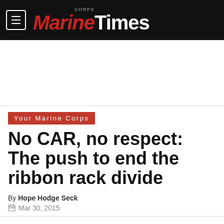Marine Corps Times
Your Marine Corps
No CAR, no respect: The push to end the ribbon rack divide
By Hope Hodge Seck
Mar 30, 2015